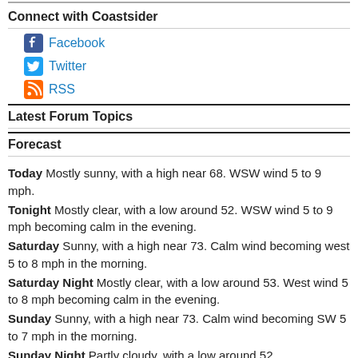Connect with Coastsider
Facebook
Twitter
RSS
Latest Forum Topics
Forecast
Today Mostly sunny, with a high near 68. WSW wind 5 to 9 mph.
Tonight Mostly clear, with a low around 52. WSW wind 5 to 9 mph becoming calm in the evening.
Saturday Sunny, with a high near 73. Calm wind becoming west 5 to 8 mph in the morning.
Saturday Night Mostly clear, with a low around 53. West wind 5 to 8 mph becoming calm in the evening.
Sunday Sunny, with a high near 73. Calm wind becoming SW 5 to 7 mph in the morning.
Sunday Night Partly cloudy, with a low around 52.
Monday Mostly sunny, with a high near 68.